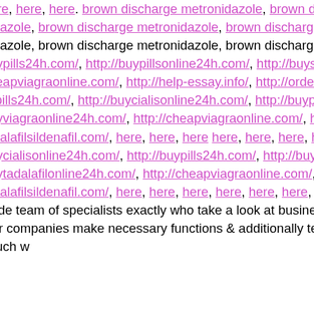here, here, here, here. brown discharge metronidazole, brown discharge metronidazole, brown discharge metronidazole, brown discharge metronidazole, brown discharge metronidazole, brown discharge metronidazole, brown discharge metronidazole, brown discharge metronidazole, brown discharge metronidazole. Here, http://allpills24h.com/, http://buycialisonline24h.com/, http://buypills24h.com/, http://buypillsonline24h.com/, http://buysildenafilonline24h.com/, http://buyviagraonline24h.com/, http://cheapviagraonline.com/, http://orderviagracheap.com/, http://tadalafilsildenafil.com/, here, here, http://allpills24h.com/, http://buycialisonline24h.com/, http://buypills24h.com/, http://buypillsonline24h.com/, http://buysildenafilonline24h.com/, http://buyviagraonline24h.com/, http://cheapviagraonline.com/, http://orderviagracheap.com/, http://tadalafilsildenafil.com/, here, here, here here, here, here, here, here, here, here Here, http://alldrugs24h.com/, http://buycialisonline24h.com/, http://buypills24h.com/, http://buypillsonline24h.com/, http://buysildenafilonline24h.com/, http://buytadalafilonline24h.com/, http://cheapviagraonline.com/, http://help-essay.info/, http://orderviagracheap.com/, http://tadalafilsildenafil.com/, here, here, here, here, here, here, here, here, here, here, here. betaxolol, buy online, betaxolol, buy online. you will include team of specialists exactly who take a look at business model, the and further they wrap up your requirements. According to their particular companies make necessary functions & additionally technical standard. technology and accordingly deploy alternatives. You may get in touch w